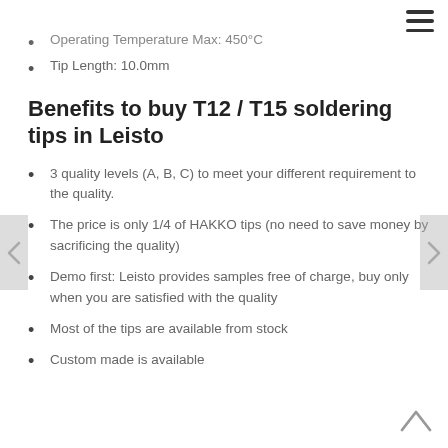Operating Temperature Max: 450°C
Tip Length: 10.0mm
Benefits to buy T12 / T15 soldering tips in Leisto
3 quality levels (A, B, C) to meet your different requirement to the quality.
The price is only 1/4 of HAKKO tips (no need to save money by sacrificing the quality)
Demo first: Leisto provides samples free of charge, buy only when you are satisfied with the quality
Most of the tips are available from stock
Custom made is available